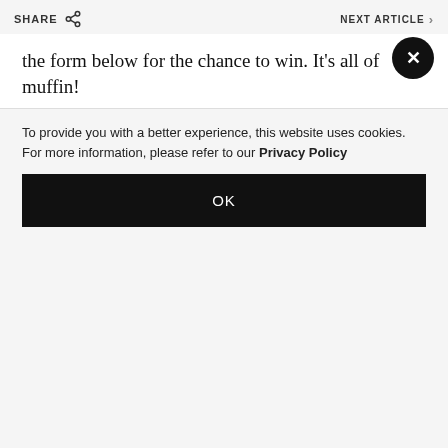SHARE   NEXT ARTICLE >
the form below for the chance to win. It’s all of muffin!
All the details...
When: Saturday 29 November, 10:30am-2pm
Where: The Mixing Bowl, 5 Shin Hing Street, Central, Hong Kong. See here for more deets!
To provide you with a better experience, this website uses cookies. For more information, please refer to our Privacy Policy
OK